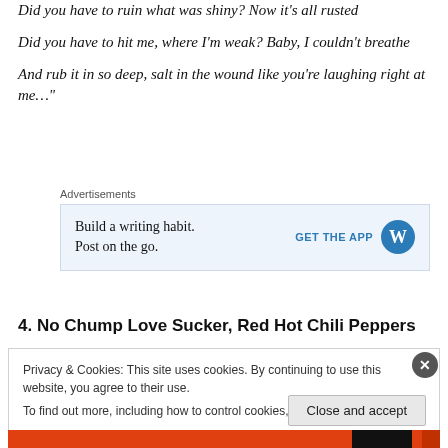Did you have to ruin what was shiny? Now it's all rusted
Did you have to hit me, where I'm weak? Baby, I couldn't breathe
And rub it in so deep, salt in the wound like you're laughing right at me..."
Advertisements
[Figure (other): WordPress app advertisement: Build a writing habit. Post on the go. GET THE APP with WordPress logo]
4. No Chump Love Sucker, Red Hot Chili Peppers
Privacy & Cookies: This site uses cookies. By continuing to use this website, you agree to their use.
To find out more, including how to control cookies, see here: Cookie Policy
Close and accept